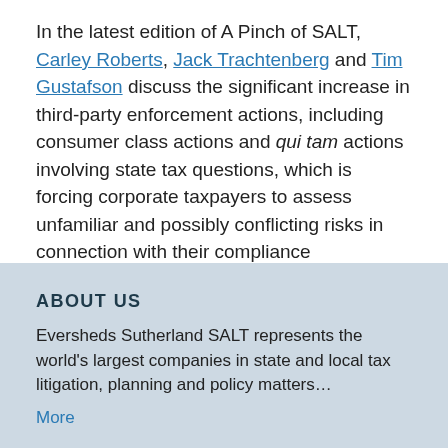In the latest edition of A Pinch of SALT, Carley Roberts, Jack Trachtenberg and Tim Gustafson discuss the significant increase in third-party enforcement actions, including consumer class actions and qui tam actions involving state tax questions, which is forcing corporate taxpayers to assess unfamiliar and possibly conflicting risks in connection with their compliance obligations….
ABOUT US
Eversheds Sutherland SALT represents the world's largest companies in state and local tax litigation, planning and policy matters…
More